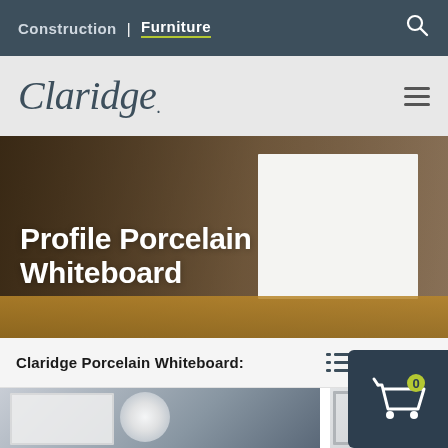Construction | Furniture
[Figure (logo): Claridge logo in cursive/italic font on light gray background]
[Figure (photo): Hero image of an office/workspace with a large white porcelain whiteboard mounted on a wooden wall, with a desk and laptop below]
Profile Porcelain Whiteboard
Claridge Porcelain Whiteboard:
[Figure (photo): Photo of a whiteboard mounted in a modern office room with ceiling lights]
[Figure (photo): Partial photo of whiteboard framing detail]